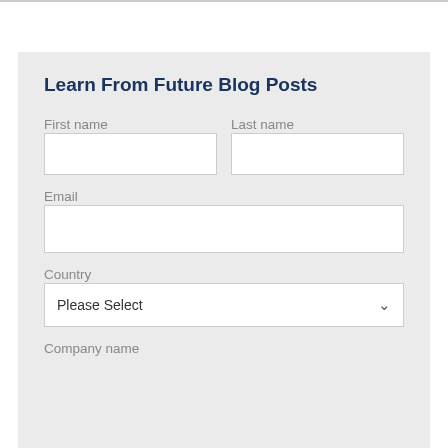Learn From Future Blog Posts
First name
Last name
Email
Country
Please Select
Company name